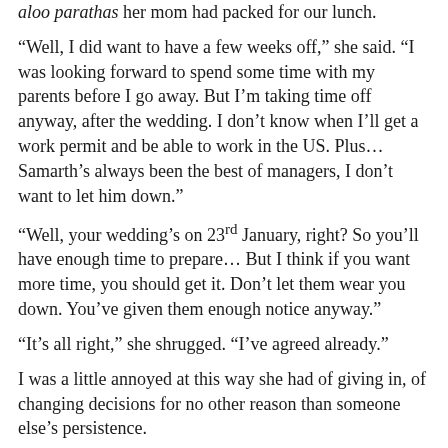aloo parathas her mom had packed for our lunch.
“Well, I did want to have a few weeks off,” she said. “I was looking forward to spend some time with my parents before I go away. But I’m taking time off anyway, after the wedding. I don’t know when I’ll get a work permit and be able to work in the US. Plus… Samarth’s always been the best of managers, I don’t want to let him down.”
“Well, your wedding’s on 23rd January, right? So you’ll have enough time to prepare… But I think if you want more time, you should get it. Don’t let them wear you down. You’ve given them enough notice anyway.”
“It’s all right,” she shrugged. “I’ve agreed already.”
I was a little annoyed at this way she had of giving in, of changing decisions for no other reason than someone else’s persistence.
But at least the news was good for me. It gave me one extra month to find a new roommate.
I hadn’t had much luck finding a roommate so far. I preferred having someone I knew and liked, but there had been no such candidates yet. I had tried to persuade Kim to move in with me, but